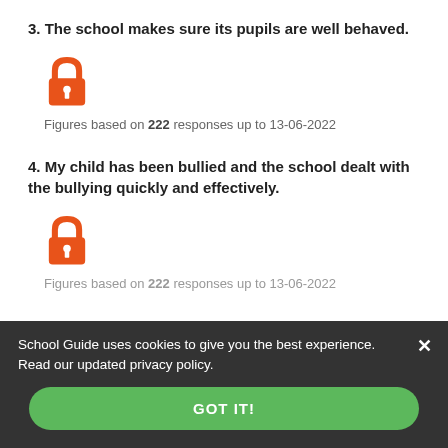3. The school makes sure its pupils are well behaved.
[Figure (illustration): Orange open padlock icon indicating data is locked/unavailable]
Figures based on 222 responses up to 13-06-2022
4. My child has been bullied and the school dealt with the bullying quickly and effectively.
[Figure (illustration): Orange open padlock icon indicating data is locked/unavailable]
Figures based on 222 responses up to 13-06-2022
School Guide uses cookies to give you the best experience. Read our updated privacy policy.
GOT IT!